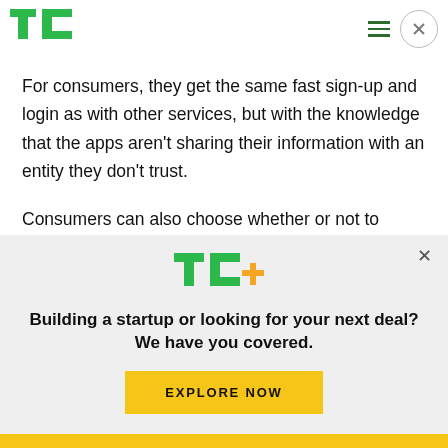TechCrunch header with logo, hamburger menu, and close button
For consumers, they get the same fast sign-up and login as with other services, but with the knowledge that the apps aren't sharing their information with an entity they don't trust.
Consumers can also choose whether or not to share their email with the app developer.
[Figure (logo): TechCrunch TC+ logo in green with orange plus sign]
Building a startup or looking for your next deal? We have you covered.
EXPLORE NOW